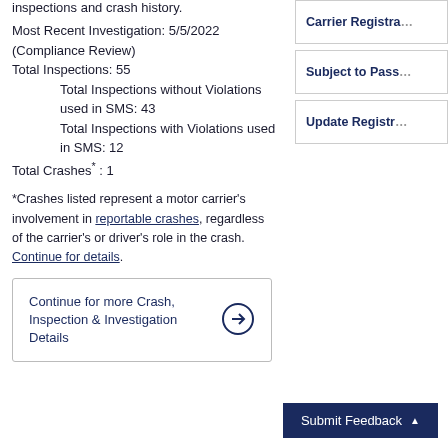inspections and crash history.
Most Recent Investigation: 5/5/2022 (Compliance Review)
Total Inspections: 55
    Total Inspections without Violations used in SMS: 43
    Total Inspections with Violations used in SMS: 12
Total Crashes* : 1
*Crashes listed represent a motor carrier's involvement in reportable crashes, regardless of the carrier's or driver's role in the crash. Continue for details.
Continue for more Crash, Inspection & Investigation Details
Carrier Registra...
Subject to Pass...
Update Registr...
Submit Feedback